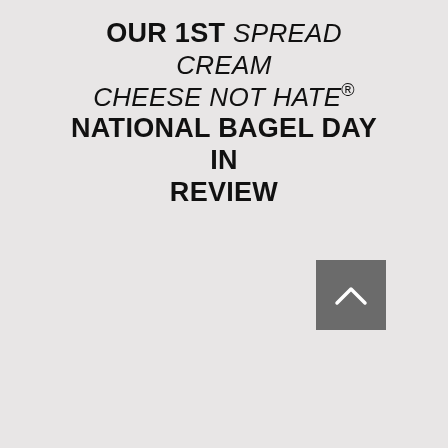OUR 1ST SPREAD CREAM CHEESE NOT HATE® NATIONAL BAGEL DAY IN REVIEW
[Figure (other): A grey square button with a white upward-pointing chevron arrow, used as a scroll-to-top navigation element.]